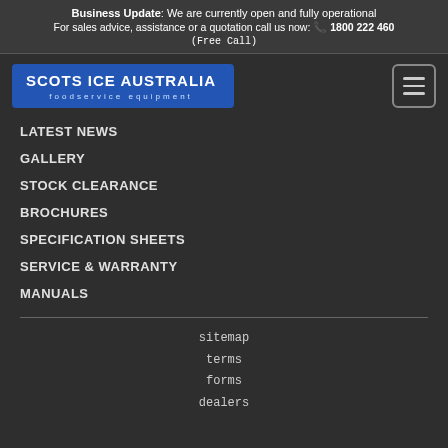Business Update: We are currently open and fully operational
For sales advice, assistance or a quotation call us now: 📞 1800 222 460 (Free Call)
[Figure (logo): Scots Ice Australia foodservice equipment logo — white text on blue rounded rectangle background]
LATEST NEWS
GALLERY
STOCK CLEARANCE
BROCHURES
SPECIFICATION SHEETS
SERVICE & WARRANTY
MANUALS
sitemap
terms
forms
dealers